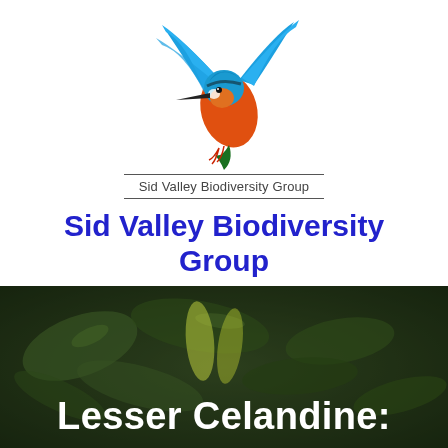[Figure (logo): Sid Valley Biodiversity Group logo featuring a kingfisher bird with blue and orange plumage in flight, with the text 'Sid Valley Biodiversity Group' beneath two horizontal lines]
Sid Valley Biodiversity Group
Promoting & Enhancing The Natural Beauty of the Sid Valley
[Figure (other): Navigation menu icon with 'fl' ligature text and three horizontal lines (hamburger menu)]
[Figure (photo): Dark green leafy plants background photo with white bold text overlaid reading 'Lesser Celandine:']